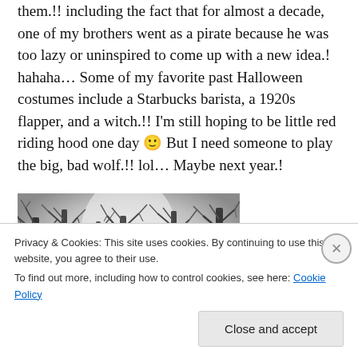them.!! including the fact that for almost a decade, one of my brothers went as a pirate because he was too lazy or uninspired to come up with a new idea.! hahaha… Some of my favorite past Halloween costumes include a Starbucks barista, a 1920s flapper, and a witch.!! I'm still hoping to be little red riding hood one day 🙂 But I need someone to play the big, bad wolf.!! lol… Maybe next year.!
[Figure (illustration): Black and white illustration of a spooky forest with bare trees and a misty background]
Privacy & Cookies: This site uses cookies. By continuing to use this website, you agree to their use.
To find out more, including how to control cookies, see here: Cookie Policy
Close and accept